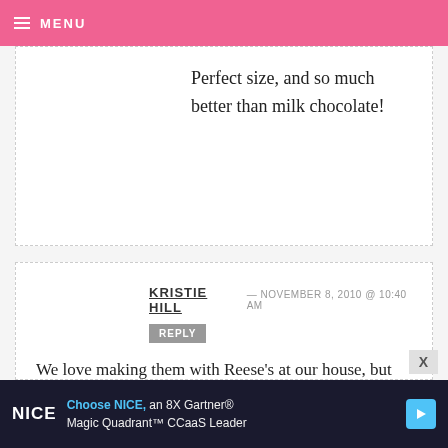MENU
Perfect size, and so much better than milk chocolate!
KRISTIE HILL — NOVEMBER 8, 2010 @ 10:40 AM
REPLY
We love making them with Reese's at our house, but Keebler Fudge Stripe cookies are also great – crunchy cookie and chocolate all in one!
[Figure (other): Advertisement banner: NICE - Choose NICE, an 8X Gartner Magic Quadrant CCaaS Leader]